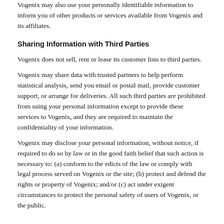Vogenix may also use your personally identifiable information to inform you of other products or services available from Vogenix and its affiliates.
Sharing Information with Third Parties
Vogenix does not sell, rent or lease its customer lists to third parties.
Vogenix may share data with trusted partners to help perform statistical analysis, send you email or postal mail, provide customer support, or arrange for deliveries. All such third parties are prohibited from using your personal information except to provide these services to Vogenix, and they are required to maintain the confidentiality of your information.
Vogenix may disclose your personal information, without notice, if required to do so by law or in the good faith belief that such action is necessary to: (a) conform to the edicts of the law or comply with legal process served on Vogenix or the site; (b) protect and defend the rights or property of Vogenix; and/or (c) act under exigent circumstances to protect the personal safety of users of Vogenix, or the public.